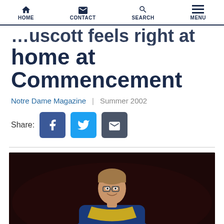HOME | CONTACT | SEARCH | MENU
…uscott feels right at home at Commencement
Notre Dame Magazine | Summer 2002
Share:
[Figure (photo): A man in academic regalia (blue and gold graduation robes and hood) smiling, photographed at a commencement ceremony with a dark background and crowd.]